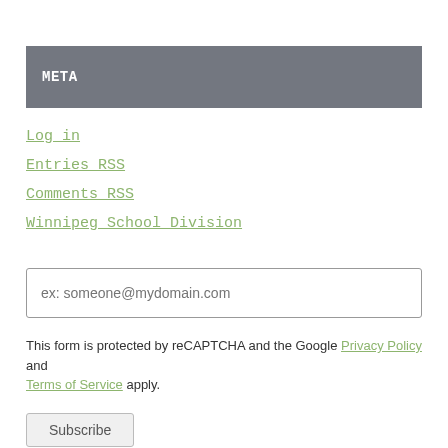META
Log in
Entries RSS
Comments RSS
Winnipeg School Division
ex: someone@mydomain.com
This form is protected by reCAPTCHA and the Google Privacy Policy and Terms of Service apply.
Subscribe